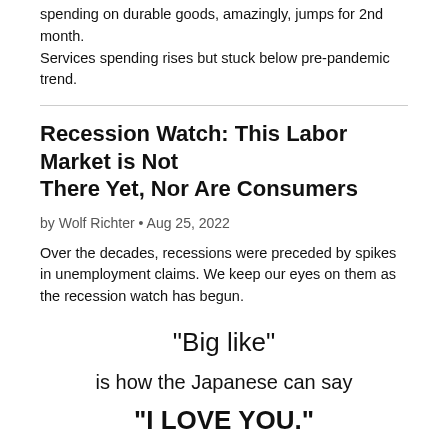spending on durable goods, amazingly, jumps for 2nd month. Services spending rises but stuck below pre-pandemic trend.
Recession Watch: This Labor Market is Not There Yet, Nor Are Consumers
by Wolf Richter • Aug 25, 2022
Over the decades, recessions were preceded by spikes in unemployment claims. We keep our eyes on them as the recession watch has begun.
"Big like"
is how the Japanese can say
"I LOVE YOU."
But it's not quite the same thing.